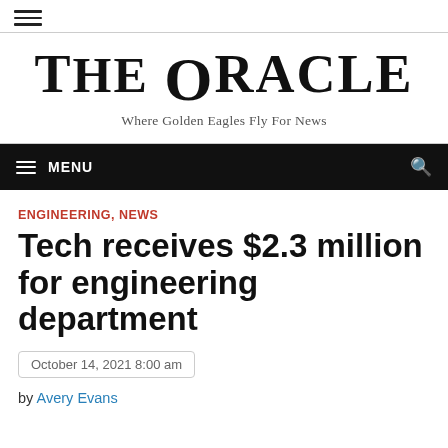THE ORACLE — Where Golden Eagles Fly For News
ENGINEERING, NEWS
Tech receives $2.3 million for engineering department
October 14, 2021 8:00 am
by Avery Evans